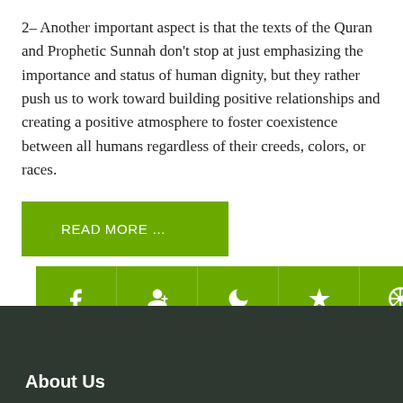2– Another important aspect is that the texts of the Quran and Prophetic Sunnah don't stop at just emphasizing the importance and status of human dignity, but they rather push us to work toward building positive relationships and creating a positive atmosphere to foster coexistence between all humans regardless of their creeds, colors, or races.
READ MORE …
[Figure (infographic): Green social media icon bar with Facebook, Google+, crescent moon, Yelp, flower/compass, and monitor icons]
About Us